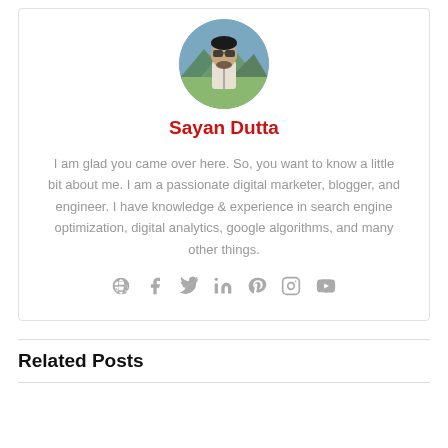[Figure (photo): Circular avatar photo of Sayan Dutta, a man wearing sunglasses outdoors]
Sayan Dutta
I am glad you came over here. So, you want to know a little bit about me. I am a passionate digital marketer, blogger, and engineer. I have knowledge & experience in search engine optimization, digital analytics, google algorithms, and many other things.
[Figure (infographic): Row of 7 social media icons: globe, Facebook, Twitter, LinkedIn, Pinterest, Instagram, YouTube]
Related Posts